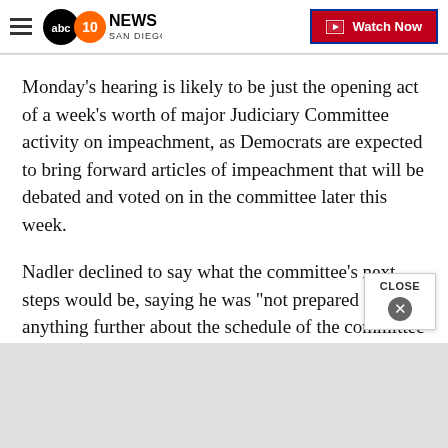10 News San Diego (ABC) — Watch Now
Monday's hearing is likely to be just the opening act of a week's worth of major Judiciary Committee activity on impeachment, as Democrats are expected to bring forward articles of impeachment that will be debated and voted on in the committee later this week.
Nadler declined to say what the committee's next steps would be, saying he was "not prepared to say anything further about the schedule of the committee beyond today's hearing." But he concluded the hearing by declaring that Trump's conduct was "clearly